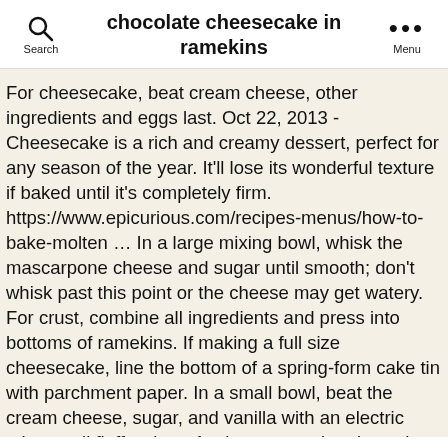chocolate cheesecake in ramekins
For cheesecake, beat cream cheese, other ingredients and eggs last. Oct 22, 2013 - Cheesecake is a rich and creamy dessert, perfect for any season of the year. It’ll lose its wonderful texture if baked until it's completely firm. https://www.epicurious.com/recipes-menus/how-to-bake-molten … In a large mixing bowl, whisk the mascarpone cheese and sugar until smooth; don’t whisk past this point or the cheese may get watery. For crust, combine all ingredients and press into bottoms of ramekins. If making a full size cheesecake, line the bottom of a spring-form cake tin with parchment paper. In a small bowl, beat the cream cheese, sugar, and vanilla with an electric mixer until fluffy, about 1 minute, scraping down the bowl as needed. cheese cake in ramekins recipes from the best food bloggers. Pour 1 tbsp melted chocolate over every cheesecake and top with raspberries. ; I like to use melted Toblerone chocolate … Have two 6-ounce ramekins*